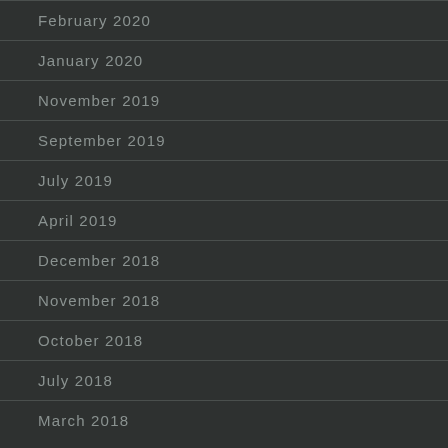February 2020
January 2020
November 2019
September 2019
July 2019
April 2019
December 2018
November 2018
October 2018
July 2018
March 2018